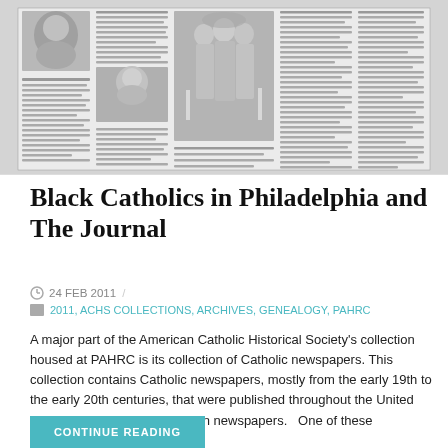[Figure (photo): Scanned newspaper page showing Black Catholics in Philadelphia, with columns of text and period portrait illustrations including a central large image of Catholic clergy/parishioners]
Black Catholics in Philadelphia and The Journal
24 FEB 2011 /
2011, ACHS COLLECTIONS, ARCHIVES, GENEALOGY, PAHRC
A major part of the American Catholic Historical Society's collection housed at PAHRC is its collection of Catholic newspapers.  This collection contains Catholic newspapers, mostly from the early 19th to the early 20th centuries, that were published throughout the United States, as well as some foreign newspapers.   One of these periodicals is
CONTINUE READING